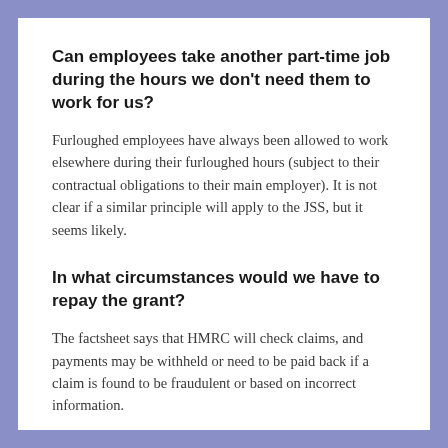Can employees take another part-time job during the hours we don't need them to work for us?
Furloughed employees have always been allowed to work elsewhere during their furloughed hours (subject to their contractual obligations to their main employer). It is not clear if a similar principle will apply to the JSS, but it seems likely.
In what circumstances would we have to repay the grant?
The factsheet says that HMRC will check claims, and payments may be withheld or need to be paid back if a claim is found to be fraudulent or based on incorrect information.